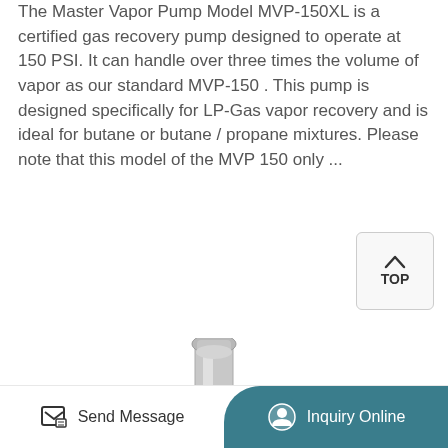The Master Vapor Pump Model MVP-150XL is a certified gas recovery pump designed to operate at 150 PSI. It can handle over three times the volume of vapor as our standard MVP-150. This pump is designed specifically for LP-Gas vapor recovery and is ideal for butane or butane / propane mixtures. Please note that this model of the MVP 150 only ...
[Figure (photo): Photo of a metal ball valve assembly, silver/chrome colored with a blue handle labeled 'ON/OFF 3/4 BALL VALVE', showing threaded fittings and a brass connector]